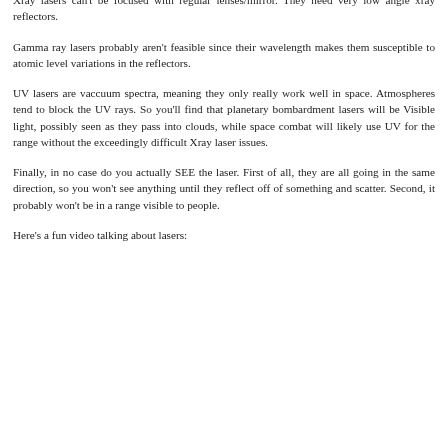with their thumb for a few seconds before the heat build up could cause a distortion.
Xray lasers can't be focused with regular lenses/mirror. They need very low angle xray reflectors.
Gamma ray lasers probably aren't feasible since their wavelength makes them susceptible to atomic level variations in the reflectors.
UV lasers are vaccuum spectra, meaning they only really work well in space. Atmospheres tend to block the UV rays. So you'll find that planetary bombardment lasers will be Visible light, possibly seen as they pass into clouds, while space combat will likely use UV for the range without the exceedingly difficult Xray laser issues.
Finally, in no case do you actually SEE the laser. First of all, they are all going in the same direction, so you won't see anything until they reflect off of something and scatter. Second, it probably won't be in a range visible to people.
Here's a fun video talking about lasers: